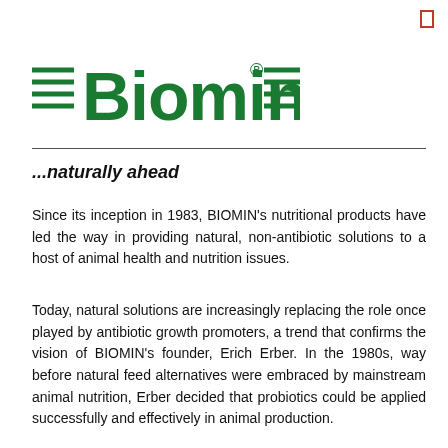[Figure (logo): Biomin logo with green text and horizontal lines on either side]
...naturally ahead
Since its inception in 1983, BIOMIN's nutritional products have led the way in providing natural, non-antibiotic solutions to a host of animal health and nutrition issues.
Today, natural solutions are increasingly replacing the role once played by antibiotic growth promoters, a trend that confirms the vision of BIOMIN's founder, Erich Erber. In the 1980s, way before natural feed alternatives were embraced by mainstream animal nutrition, Erber decided that probiotics could be applied successfully and effectively in animal production.